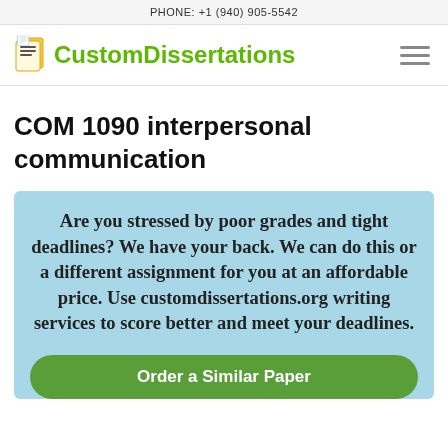PHONE: +1 (940) 905-5542
[Figure (logo): CustomDissertations logo with document icon and green text]
COM 1090 interpersonal communication
Are you stressed by poor grades and tight deadlines? We have your back. We can do this or a different assignment for you at an affordable price. Use customdissertations.org writing services to score better and meet your deadlines.
Order a Similar Paper